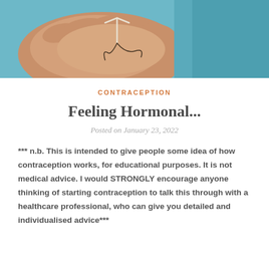[Figure (photo): Close-up photograph of a hand holding a small IUD (intrauterine device) with thin strings, against a teal/blue background]
CONTRACEPTION
Feeling Hormonal...
Posted on January 23, 2022
*** n.b. This is intended to give people some idea of how contraception works, for educational purposes. It is not medical advice. I would STRONGLY encourage anyone thinking of starting contraception to talk this through with a healthcare professional, who can give you detailed and individualised advice***